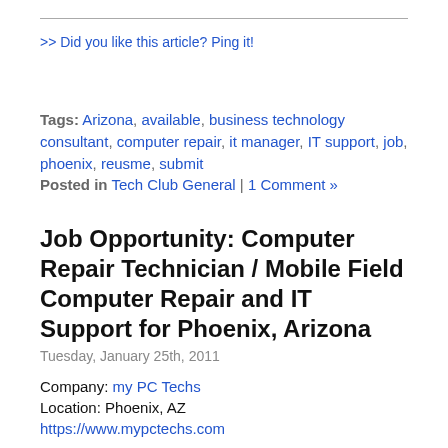>> Did you like this article? Ping it!
Tags: Arizona, available, business technology consultant, computer repair, it manager, IT support, job, phoenix, reusme, submit
Posted in Tech Club General | 1 Comment »
Job Opportunity: Computer Repair Technician / Mobile Field Computer Repair and IT Support for Phoenix, Arizona
Tuesday, January 25th, 2011
Company: my PC Techs
Location: Phoenix, AZ
https://www.mypctechs.com